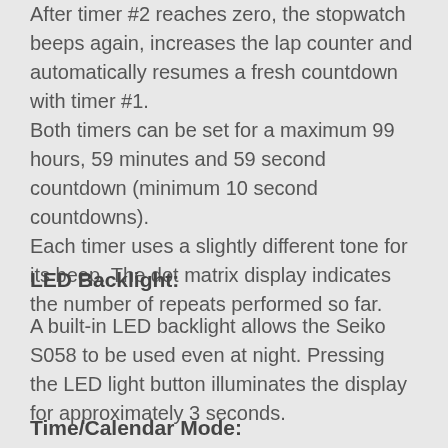After timer #2 reaches zero, the stopwatch beeps again, increases the lap counter and automatically resumes a fresh countdown with timer #1. Both timers can be set for a maximum 99 hours, 59 minutes and 59 second countdown (minimum 10 second countdowns). Each timer uses a slightly different tone for its beep. The dot matrix display indicates the number of repeats performed so far.
LED Backlight:
A built-in LED backlight allows the Seiko S058 to be used even at night. Pressing the LED light button illuminates the display for approximately 3 seconds.
Time/Calendar Mode: